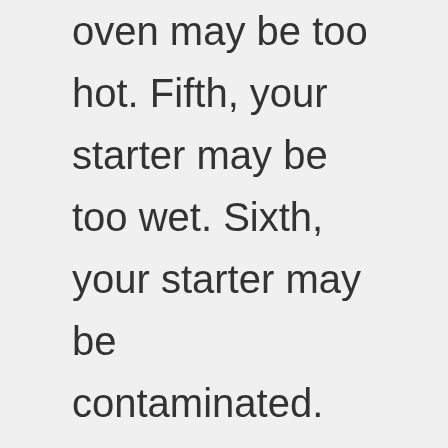oven may be too hot. Fifth, your starter may be too wet. Sixth, your starter may be contaminated. Seventh, your starter may be infected. Eighth, your starter may be underdeveloped. Ninth, your starter may be overdeveloped. Tenth, your starter may be mixed incorrectly. Eleventh, your starter